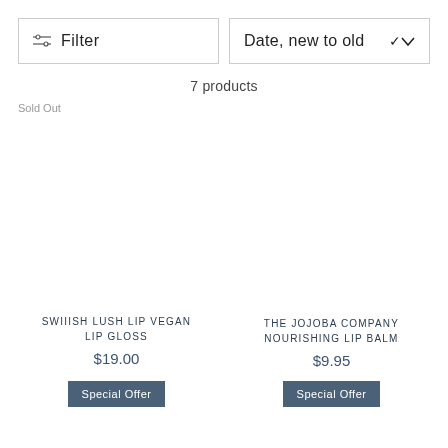Filter
Date, new to old
7 products
Sold Out
SWIIISH LUSH LIP VEGAN LIP GLOSS
$19.00
THE JOJOBA COMPANY NOURISHING LIP BALM
$9.95
Special Offer
Special Offer